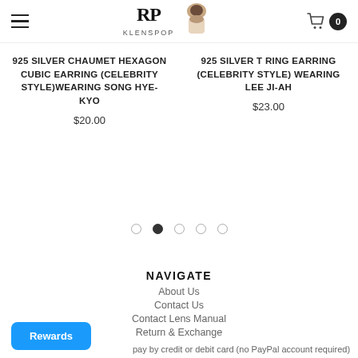KLENSPOP – Navigation header with hamburger menu and cart (0 items)
925 SILVER CHAUMET HEXAGON CUBIC EARRING (CELEBRITY STYLE)WEARING SONG HYE-KYO
$20.00
925 SILVER T RING EARRING (CELEBRITY STYLE) WEARING LEE JI-AH
$23.00
[Figure (other): Carousel pagination dots — 5 dots, second one filled/active]
NAVIGATE
About Us
Contact Us
Contact Lens Manual
Return & Exchange
pay by credit or debit card (no PayPal account required)
Rewards